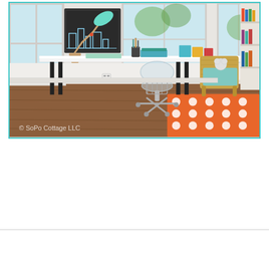[Figure (photo): Interior photo of a children's study room with a long white desk on black legs, a teal/mint desk lamp, a clear acrylic office chair, a wicker armchair with teal pillow, bookshelves, hardwood floors, and an orange polka-dot rug. Watermark reads '© SoPo Cottage LLC'. Photo is bordered with a teal/cyan border.]